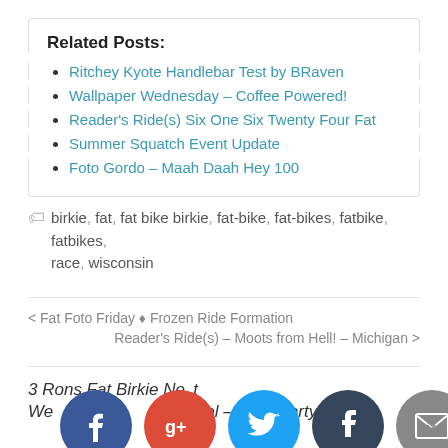Related Posts:
Ritchey Kyote Handlebar Test by BRaven
Wallpaper Wednesday – Coffee Powered!
Reader's Ride(s) Six One Six Twenty Four Fat
Summer Squatch Event Update
Foto Gordo – Maah Daah Hey 100
birkie, fat, fat bike birkie, fat-bike, fat-bikes, fatbike, fatbikes, race, wisconsin
< Fat Foto Friday ♦ Frozen Ride Formation
Reader's Ride(s) – Moots from Hell! – Michigan >
3 Reasons Fat Birkie Next Weekend! – Lodging Deal – After Party